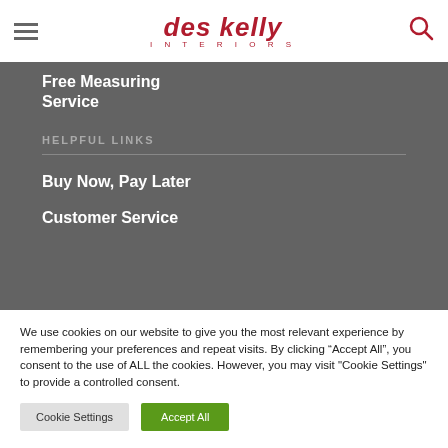des kelly INTERIORS
Free Measuring Service
HELPFUL LINKS
Buy Now, Pay Later
Customer Service
We use cookies on our website to give you the most relevant experience by remembering your preferences and repeat visits. By clicking “Accept All”, you consent to the use of ALL the cookies. However, you may visit "Cookie Settings" to provide a controlled consent.